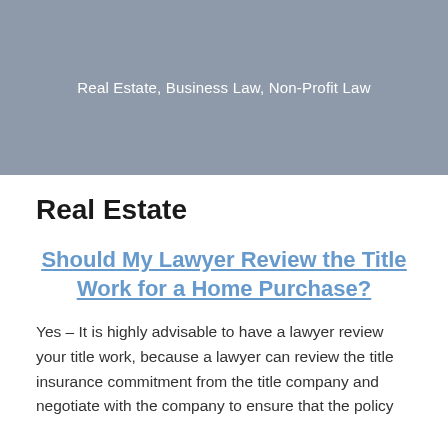Real Estate, Business Law, Non-Profit Law
Real Estate
Should My Lawyer Review the Title Work for a Home Purchase?
Yes – It is highly advisable to have a lawyer review your title work, because a lawyer can review the title insurance commitment from the title company and negotiate with the company to ensure that the policy